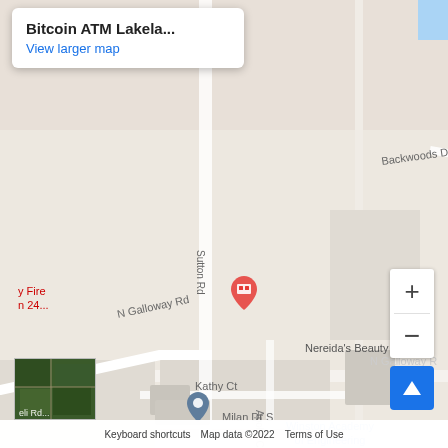[Figure (map): Google Maps screenshot showing Bitcoin ATM Lakeland - Coinhub location on Sutton Rd near N Galloway Rd in Lakeland, FL. Map shows surrounding streets including Backwoods Dr, Apollo Ct, Kathy Ct, Milan Dr S. Nearby landmarks include Nereida's Beauty Salon, Winston Academy of Engineering. A red pin marks the Bitcoin ATM location. Map data ©2022.]
Bitcoin ATM Lakela...
View larger map
Keyboard shortcuts   Map data ©2022   Terms of Use